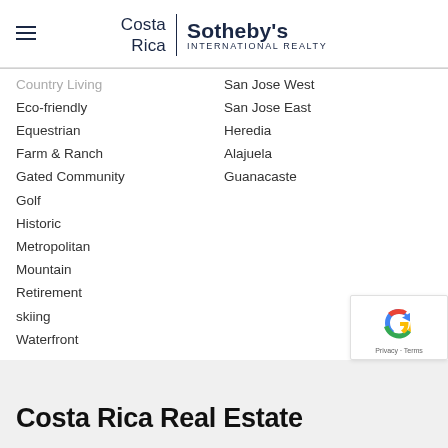Costa Rica | Sotheby's INTERNATIONAL REALTY
Country Living
Eco-friendly
Equestrian
Farm & Ranch
Gated Community
Golf
Historic
Metropolitan
Mountain
Retirement
skiing
Waterfront
San Jose West
San Jose East
Heredia
Alajuela
Guanacaste
Costa Rica Real Estate